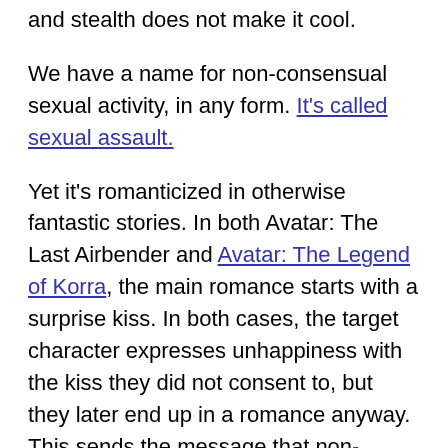and stealth does not make it cool.
We have a name for non-consensual sexual activity, in any form. It's called sexual assault.
Yet it's romanticized in otherwise fantastic stories. In both Avatar: The Last Airbender and Avatar: The Legend of Korra, the main romance starts with a surprise kiss. In both cases, the target character expresses unhappiness with the kiss they did not consent to, but they later end up in a romance anyway. This sends the message that non-consensual kisses are a valid way to court someone and that the target's indignation will disappear later.